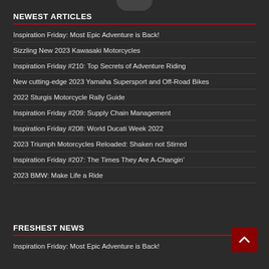NEWEST ARTICLES
Inspiration Friday: Most Epic Adventure is Back!
Sizzling New 2023 Kawasaki Motorcycles
Inspiration Friday #210: Top Secrets of Adventure Riding
New cutting-edge 2023 Yamaha Supersport and Off-Road Bikes
2022 Sturgis Motorcycle Rally Guide
Inspiration Friday #209: Supply Chain Management
Inspiration Friday #208: World Ducati Week 2022
2023 Triumph Motorcycles Reloaded: Shaken not Stirred
Inspiration Friday #207: The Times They Are A-Changin’
2023 BMW: Make Life a Ride
FRESHEST NEWS
Inspiration Friday: Most Epic Adventure is Back!